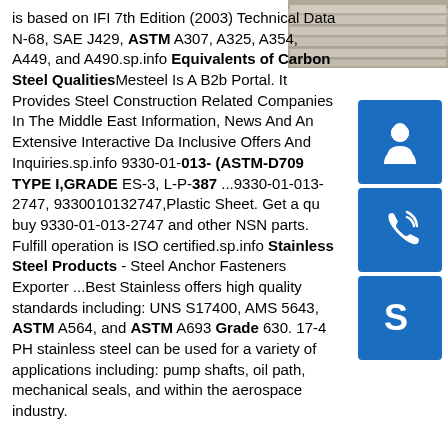[Figure (photo): Photo of metal steel bars/profiles stacked together, viewed from the end]
is based on IFI 7th Edition (2003) Technical Data N-68, SAE J429, ASTM A307, A325, A354, A449, and A490.sp.info Equivalents of Carbon Steel QualitiesMesteel Is A B2b Portal. It Provides Steel Construction Related Companies In The Middle East Information, News And An Extensive Interactive Da Inclusive Offers And Inquiries.sp.info 9330-01-013- (ASTM-D709 TYPE I,GRADE ES-3, L-P-387 ...9330-01-013-2747, 9330010132747,Plastic Sheet. Get a qu buy 9330-01-013-2747 and other NSN parts. Fulfill operation is ISO certified.sp.info Stainless Steel Products - Steel Anchor Fasteners Exporter ...Best Stainless offers high quality standards including: UNS S17400, AMS 5643, ASTM A564, and ASTM A693 Grade 630. 17-4 PH stainless steel can be used for a variety of applications including: pump shafts, oil path, mechanical seals, and within the aerospace industry.
[Figure (illustration): Blue square icon with white headset/customer support icon]
[Figure (illustration): Blue square icon with white telephone/call icon]
[Figure (illustration): Blue square icon with white Skype logo icon]